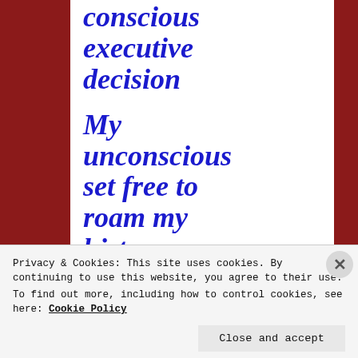conscious executive decision

My unconscious set free to roam my history. How that
Privacy & Cookies: This site uses cookies. By continuing to use this website, you agree to their use.
To find out more, including how to control cookies, see here: Cookie Policy